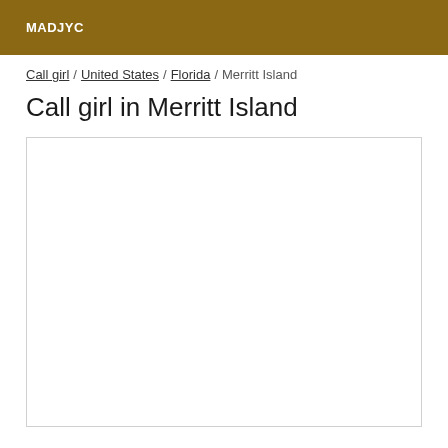MADJYC
Call girl / United States / Florida / Merritt Island
Call girl in Merritt Island
[Figure (other): Empty white content box with border]